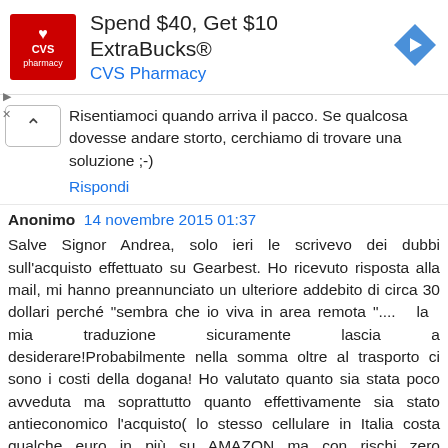[Figure (screenshot): CVS Pharmacy advertisement banner: red CVS pharmacy logo on left, text 'Spend $40, Get $10 ExtraBucks® CVS Pharmacy' in center, blue navigation arrow icon on right]
Risentiamoci quando arriva il pacco. Se qualcosa dovesse andare storto, cerchiamo di trovare una soluzione ;-)
Rispondi
Anonimo  14 novembre 2015 01:37
Salve Signor Andrea, solo ieri le scrivevo dei dubbi sull'acquisto effettuato su Gearbest. Ho ricevuto risposta alla mail, mi hanno preannunciato un ulteriore addebito di circa 30 dollari perché "sembra che io viva in area remota "....  la  mia  traduzione  sicuramente  lascia  a desiderare!Probabilmente nella somma oltre al trasporto ci sono i costi della dogana! Ho valutato quanto sia stata poco avveduta ma soprattutto quanto effettivamente sia stato antieconomico l'acquisto( lo stesso cellulare in Italia costa qualche euro in più su AMAZON ma con rischi zero sull'integrità del prodotto! .) così son mail ho chiesto di